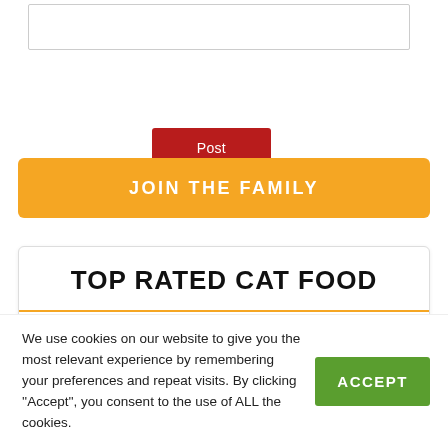[Figure (screenshot): Text input field (comment box) at the top of the page]
Post Comment
JOIN THE FAMILY
TOP RATED CAT FOOD
Cat Food By Diet Type
Cat Food By Breed (A-Z)
We use cookies on our website to give you the most relevant experience by remembering your preferences and repeat visits. By clicking ''Accept'', you consent to the use of ALL the cookies.
ACCEPT